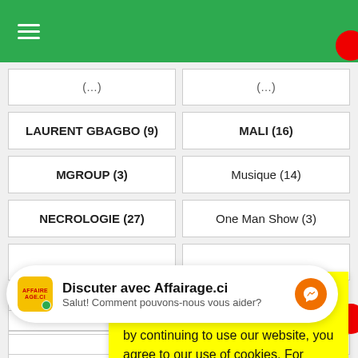Navigation menu header (green bar with hamburger icon)
LAURENT GBAGBO (9)
MALI (16)
MGROUP (3)
Musique (14)
NECROLOGIE (27)
One Man Show (3)
PDCI
POLI
PRESIDE
Our website uses cookies to provide you the best experience. However, by continuing to use our website, you agree to our use of cookies. For more information, read our Cookie Policy.
Discuter avec Affairage.ci
Salut! Comment pouvons-nous vous aider?